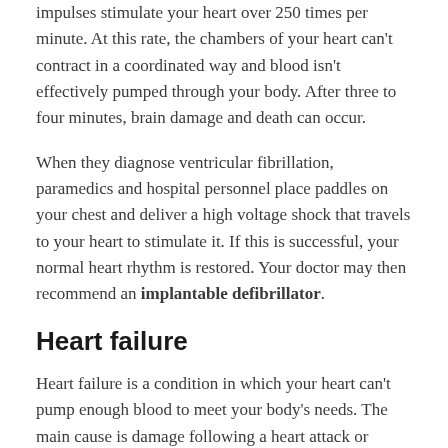impulses stimulate your heart over 250 times per minute. At this rate, the chambers of your heart can't contract in a coordinated way and blood isn't effectively pumped through your body. After three to four minutes, brain damage and death can occur.
When they diagnose ventricular fibrillation, paramedics and hospital personnel place paddles on your chest and deliver a high voltage shock that travels to your heart to stimulate it. If this is successful, your normal heart rhythm is restored. Your doctor may then recommend an implantable defibrillator.
Heart failure
Heart failure is a condition in which your heart can't pump enough blood to meet your body's needs. The main cause is damage following a heart attack or